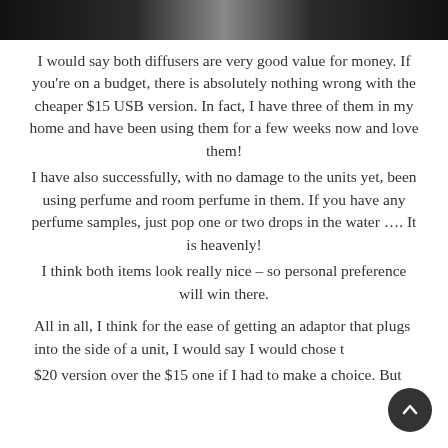[Figure (photo): Dark photo strip at top of page showing indistinct dark scene with some lighter elements]
I would say both diffusers are very good value for money.  If you're on a budget, there is absolutely nothing wrong with the cheaper $15 USB version.  In fact, I have three of them in my home and have been using them for a few weeks now and love them!
I have also successfully, with no damage to the units yet, been using perfume and room perfume in them.  If you have any perfume samples, just pop one or two drops in the water …. It is heavenly!
I think both items look really nice – so personal preference will win there.
All in all, I think for the ease of getting an adaptor that plugs into the side of a unit, I would say I would chose the $20 version over the $15 one if I had to make a choice. But